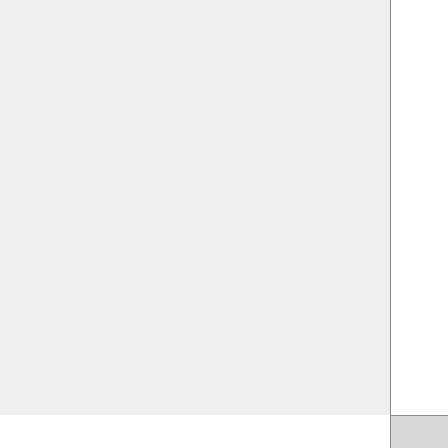MERRA into GEOS-Chem
GMAO GEOS-FP
List of GEOS-FP met fields used by GEOS-Chem
Implementing GEOS-FP into GEOS-Chem
GEOS-Chem Met Fields (from website)
Notes regarding GEOS vertical grids
Earth System...